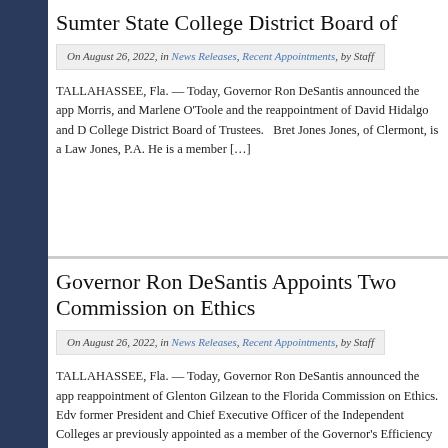Sumter State College District Board of
On August 26, 2022, in News Releases, Recent Appointments, by Staff
TALLAHASSEE, Fla. — Today, Governor Ron DeSantis announced the app Morris, and Marlene O'Toole and the reappointment of David Hidalgo and D College District Board of Trustees.   Bret Jones Jones, of Clermont, is a Law Jones, P.A. He is a member […]
Governor Ron DeSantis Appoints Two Commission on Ethics
On August 26, 2022, in News Releases, Recent Appointments, by Staff
TALLAHASSEE, Fla. — Today, Governor Ron DeSantis announced the app reappointment of Glenton Gilzean to the Florida Commission on Ethics. Edv former President and Chief Executive Officer of the Independent Colleges ar previously appointed as a member of the Governor's Efficiency Task […]